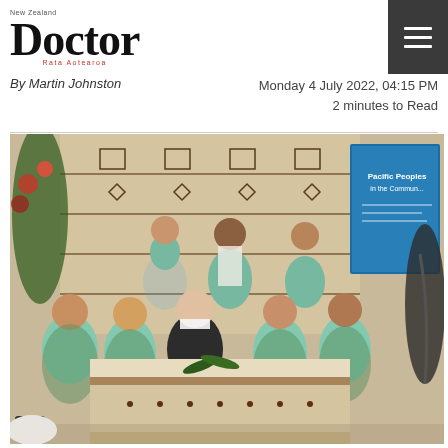New Zealand Doctor
By Martin Johnston
Monday 4 July 2022, 04:15 PM
2 minutes to Read
[Figure (photo): Group photo of approximately nine women in matching teal/mint green outfits gathered around a decorated table covered with a traditional Pacific tapa cloth, with a 'Pacific Peoples in the Community' blue presentation screen visible in the background.]